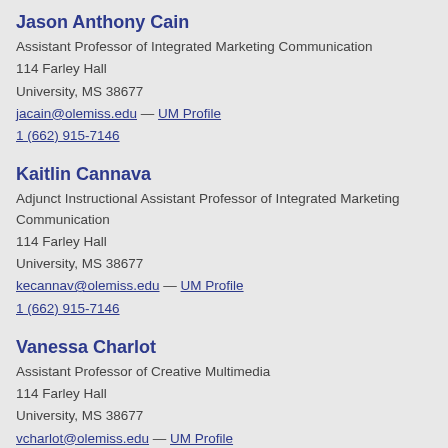Jason Anthony Cain
Assistant Professor of Integrated Marketing Communication
114 Farley Hall
University, MS 38677
jacain@olemiss.edu — UM Profile
1 (662) 915-7146
Kaitlin Cannava
Adjunct Instructional Assistant Professor of Integrated Marketing Communication
114 Farley Hall
University, MS 38677
kecannav@olemiss.edu — UM Profile
1 (662) 915-7146
Vanessa Charlot
Assistant Professor of Creative Multimedia
114 Farley Hall
University, MS 38677
vcharlot@olemiss.edu — UM Profile